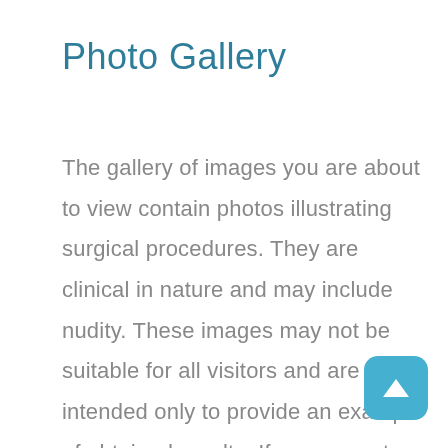Photo Gallery
The gallery of images you are about to view contain photos illustrating surgical procedures. They are clinical in nature and may include nudity. These images may not be suitable for all visitors and are intended only to provide an example of obtained results. If you are not an adult and do not have parental consent please select another section for viewing. Additional example cases are available